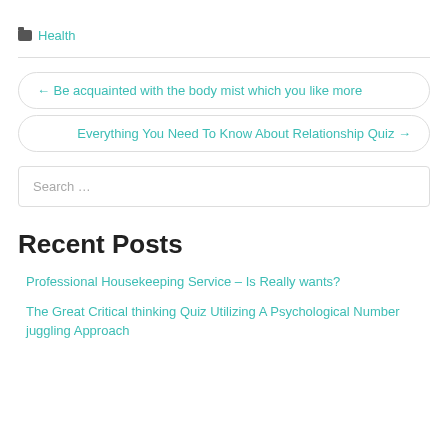🗂 Health
← Be acquainted with the body mist which you like more
Everything You Need To Know About Relationship Quiz →
Search …
Recent Posts
Professional Housekeeping Service – Is Really wants?
The Great Critical thinking Quiz Utilizing A Psychological Number juggling Approach